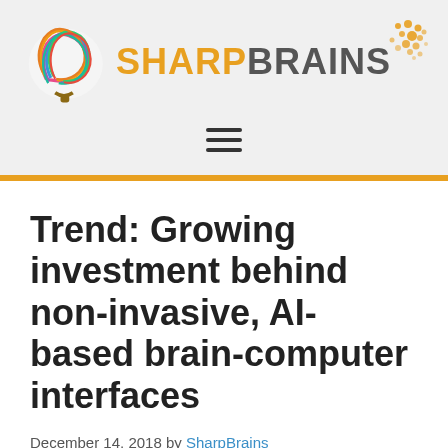[Figure (logo): SharpBrains logo with colorful brain illustration on the left and stylized SHARPBRAINS text with decorative dots on the right]
Trend: Growing investment behind non-invasive, AI-based brain-computer interfaces
December 14, 2018 by SharpBrains